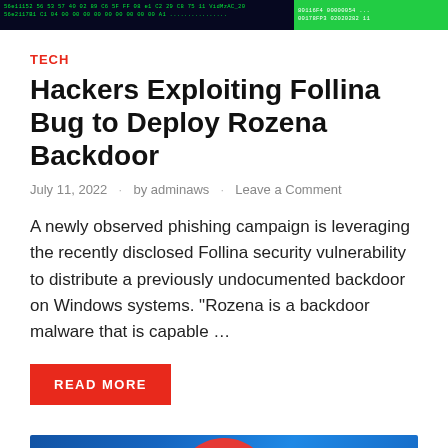[Figure (screenshot): Dark terminal/hacking screenshot banner with green text showing hex code and data on black background, with a bright green highlighted section on the right]
TECH
Hackers Exploiting Follina Bug to Deploy Rozena Backdoor
July 11, 2022 · by adminaws · Leave a Comment
A newly observed phishing campaign is leveraging the recently disclosed Follina security vulnerability to distribute a previously undocumented backdoor on Windows systems. "Rozena is a backdoor malware that is capable …
READ MORE
[Figure (screenshot): Google Chrome browser logo icon on a blue gradient background, showing the colorful Chrome icon with red top, green bottom-left, yellow bottom-right, and white/blue center]